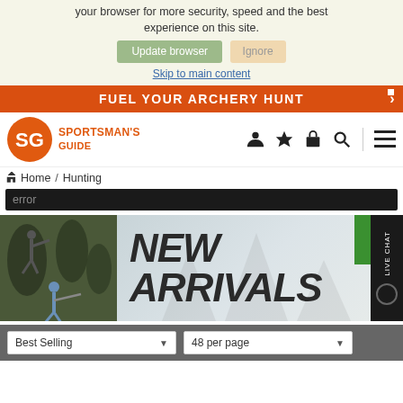your browser for more security, speed and the best experience on this site.
Update browser | Ignore
Skip to main content
FUEL YOUR ARCHERY HUNT
[Figure (logo): Sportsman's Guide logo with orange SG circular emblem and text SPORTSMAN'S GUIDE]
Home / Hunting
error
[Figure (photo): New Arrivals banner with hunters shooting targets in outdoor setting, large bold italic text NEW ARRIVALS]
Best Selling | 48 per page